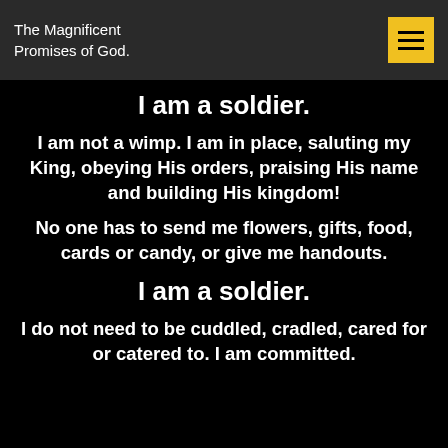The Magnificent Promises of God.
I am a soldier.
I am not a wimp. I am in place, saluting my King, obeying His orders, praising His name and building His kingdom!
No one has to send me flowers, gifts, food, cards or candy, or give me handouts.
I am a soldier.
I do not need to be cuddled, cradled, cared for or catered to. I am committed.